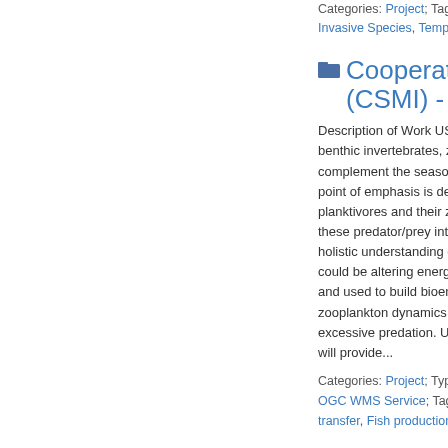Categories: Project; Tags: Asian..., Invasive Species, Template 66,
Cooperative Science (CSMI) - LAKE HUR...
Description of Work USGS... benthic invertebrates, zoop... complement the seasonal ... point of emphasis is descri... planktivores and their zoop... these predator/prey interac... holistic understanding of h... could be altering energy av... and used to build bioenergi... zooplankton dynamics are ... excessive predation. Unde... will provide...
Categories: Project; Types: Map..., OGC WMS Service; Tags: Acco..., transfer, Fish production, All tag...
Fluvial Eg...